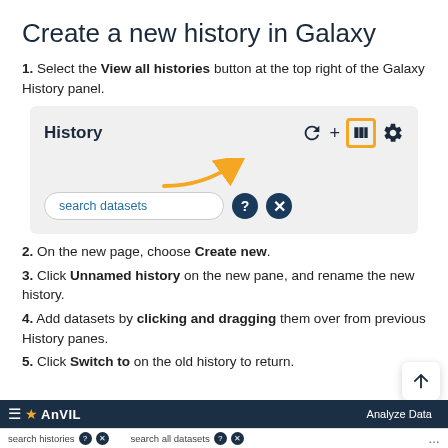Create a new history in Galaxy
1. Select the View all histories button at the top right of the Galaxy History panel.
[Figure (screenshot): Screenshot of Galaxy History panel showing History label, refresh/plus/view-columns/settings icons with an orange box highlighting the view-columns icon, and a search datasets input field with question mark and X circle icons. An orange arrow points up-right toward the highlighted icon.]
2. On the new page, choose Create new.
3. Click Unnamed history on the new pane, and rename the new history.
4. Add datasets by clicking and dragging them over from previous History panes.
5. Click Switch to on the old history to return.
[Figure (screenshot): Bottom navigation bar of AnVIL Galaxy showing dark navy bar with hamburger menu, star icon, AnVIL brand name, Analyze Data text, and a bottom row with search histories, question/x icons, search all datasets, question/x icons, and a ... menu button.]